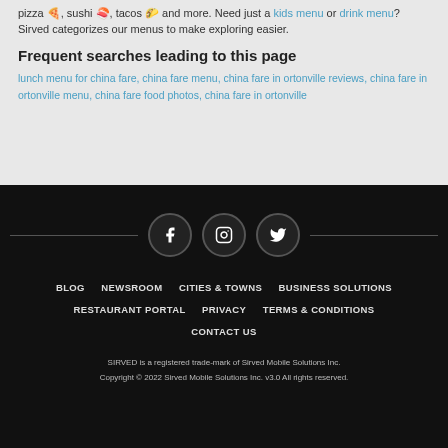pizza 🍕, sushi 🍣, tacos 🌮 and more. Need just a kids menu or drink menu? Sirved categorizes our menus to make exploring easier.
Frequent searches leading to this page
lunch menu for china fare, china fare menu, china fare in ortonville reviews, china fare in ortonville menu, china fare food photos, china fare in ortonville
[Figure (other): Social media icons for Facebook, Instagram, and Twitter in circles with horizontal lines on each side]
BLOG  NEWSROOM  CITIES & TOWNS  BUSINESS SOLUTIONS  RESTAURANT PORTAL  PRIVACY  TERMS & CONDITIONS  CONTACT US
SIRVED is a registered trade-mark of Sirved Mobile Solutions Inc. Copyright © 2022 Sirved Mobile Solutions Inc. v3.0 All rights reserved.